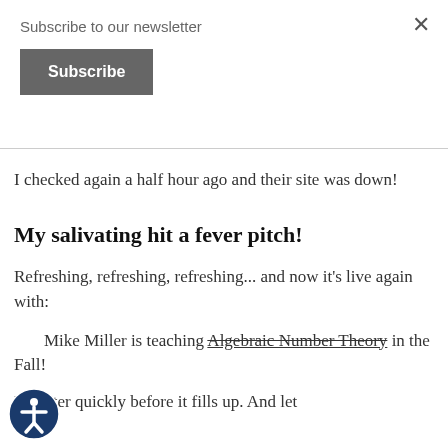Subscribe to our newsletter
Subscribe
I checked again a half hour ago and their site was down!
My salivating hit a fever pitch!
Refreshing, refreshing, refreshing... and now it's live again with:
Mike Miller is teaching Algebraic Number Theory in the Fall!
Register quickly before it fills up. And let